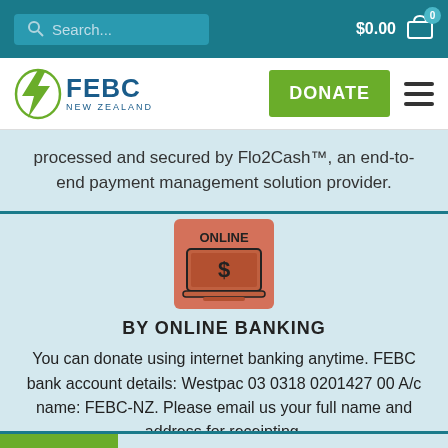Search... $0.00 0
[Figure (logo): FEBC New Zealand logo with lightning bolt, DONATE button, and hamburger menu]
processed and secured by Flo2Cash™, an end-to-end payment management solution provider.
[Figure (illustration): Online banking icon: laptop with dollar sign on salmon/orange background with ONLINE label]
BY ONLINE BANKING
You can donate using internet banking anytime. FEBC bank account details: Westpac 03 0318 0201427 00 A/c name: FEBC-NZ. Please email us your full name and address for receipting.